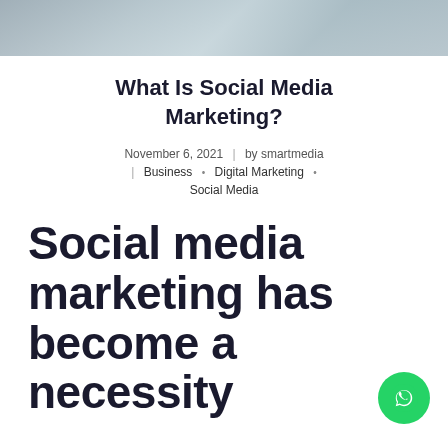[Figure (photo): Blurred background photo of city buildings or office scene in blue-grey tones]
What Is Social Media Marketing?
November 6, 2021 | by smartmedia | Business • Digital Marketing • Social Media
Social media marketing has become a necessity